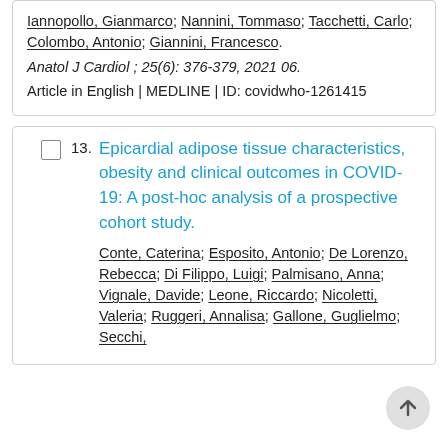Iannopollo, Gianmarco; Nannini, Tommaso; Tacchetti, Carlo; Colombo, Antonio; Giannini, Francesco. Anatol J Cardiol ; 25(6): 376-379, 2021 06. Article in English | MEDLINE | ID: covidwho-1261415
13. Epicardial adipose tissue characteristics, obesity and clinical outcomes in COVID-19: A post-hoc analysis of a prospective cohort study. Conte, Caterina; Esposito, Antonio; De Lorenzo, Rebecca; Di Filippo, Luigi; Palmisano, Anna; Vignale, Davide; Leone, Riccardo; Nicoletti, Valeria; Ruggeri, Annalisa; Gallone, Guglielmo; Secchi,